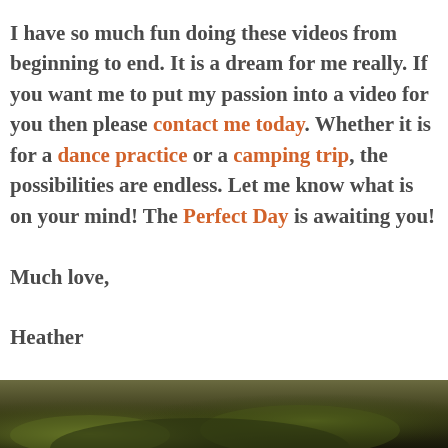I have so much fun doing these videos from beginning to end. It is a dream for me really. If you want me to put my passion into a video for you then please contact me today. Whether it is for a dance practice or a camping trip, the possibilities are endless. Let me know what is on your mind! The Perfect Day is awaiting you!

Much love,

Heather
[Figure (photo): Blurred outdoor nature photo strip at the bottom of the page, showing dark green and brown foliage]